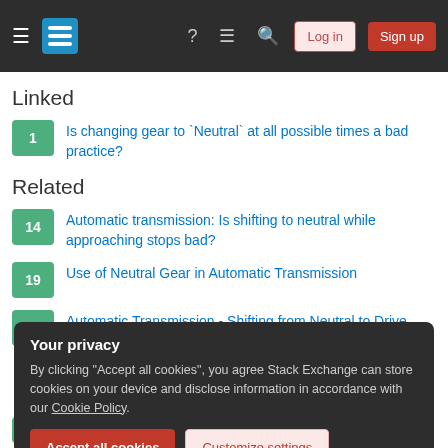Stack Exchange navigation bar with Log in and Sign up buttons
Linked
1 — Is changing gear to `Neutral` at all possible times a bad practice?
Related
14 — Automatic transmission: Is shifting to neutral while approaching stops bad?
19 — Use of Neutral Gear in Automatic Transmission
3 — Automatic Transmission - Shifting from Neutral to Drive while in motion
Your privacy
By clicking "Accept all cookies", you agree Stack Exchange can store cookies on your device and disclose information in accordance with our Cookie Policy.
1 — (N) neutral position automatic transmission?